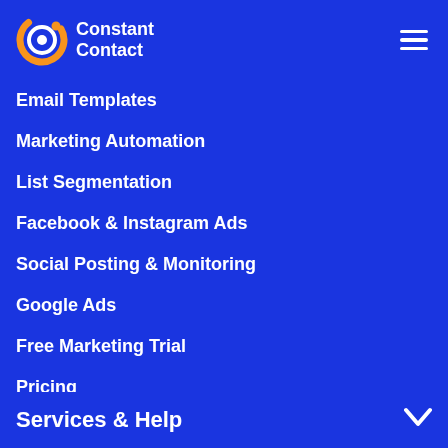[Figure (logo): Constant Contact logo with circular icon in orange and white on blue background]
Email Templates
Marketing Automation
List Segmentation
Facebook & Instagram Ads
Social Posting & Monitoring
Google Ads
Free Marketing Trial
Pricing
Services & Help